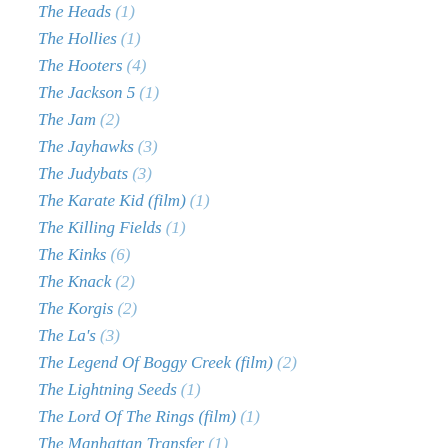The Heads (1)
The Hollies (1)
The Hooters (4)
The Jackson 5 (1)
The Jam (2)
The Jayhawks (3)
The Judybats (3)
The Karate Kid (film) (1)
The Killing Fields (1)
The Kinks (6)
The Knack (2)
The Korgis (2)
The La's (3)
The Legend Of Boggy Creek (film) (2)
The Lightning Seeds (1)
The Lord Of The Rings (film) (1)
The Manhattan Transfer (1)
The Monkees (3)
The Moody Blues (2)
The Motels (7)